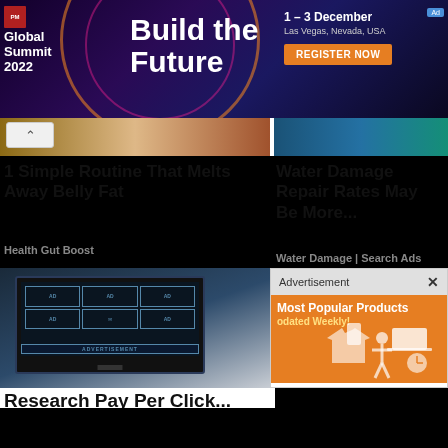[Figure (screenshot): Banner advertisement for PM Global Summit 2022, Build the Future, 1-3 December, Las Vegas, Nevada, USA, with Register Now button]
[Figure (screenshot): Cropped thumbnail image of food/health product]
1 Simple Routine That Melts Away Belly Fat
Health Gut Boost
[Figure (screenshot): Cropped thumbnail image possibly related to water damage]
Water Damage Repair Rates May Be More...
Water Damage | Search Ads
[Figure (photo): Photo of a desktop PC monitor displaying an advertisement concept with AD boxes on screen, sitting on a desk with office items]
Research Pay Per Click...
[Figure (screenshot): Advertisement popup overlay showing Most Popular Products Updated Weekly! with orange background and product icons]
[Figure (screenshot): Bottom black toolbar area with red lightning bolt icon, red bracket symbol, and a close circle button]